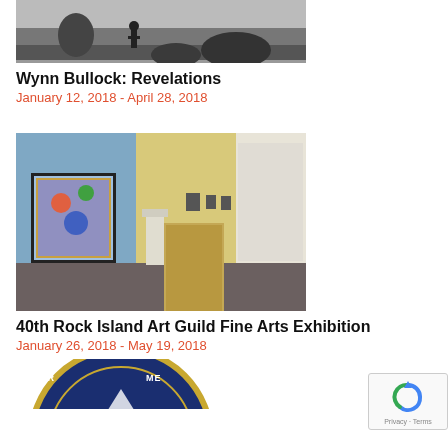[Figure (photo): Black and white photograph of a child standing near rocks by water]
Wynn Bullock: Revelations
January 12, 2018 - April 28, 2018
[Figure (photo): Gallery interior with blue wall, colorful artwork, and additional rooms visible]
40th Rock Island Art Guild Fine Arts Exhibition
January 26, 2018 - May 19, 2018
[Figure (logo): Circular badge/emblem with text, partially visible at bottom of page]